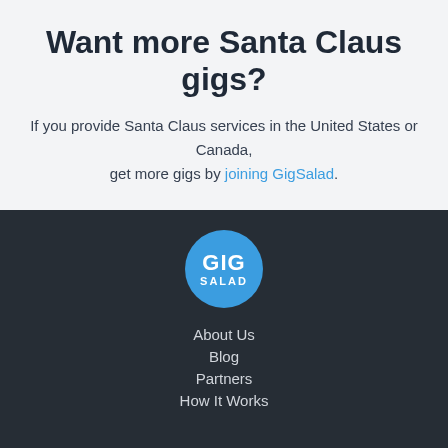Want more Santa Claus gigs?
If you provide Santa Claus services in the United States or Canada, get more gigs by joining GigSalad.
[Figure (logo): GigSalad circular blue logo with white text reading GIG SALAD]
About Us
Blog
Partners
How It Works